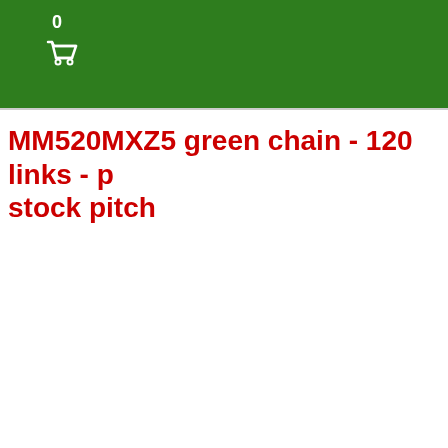0
MM520MXZ5 green chain - 120 links - p stock pitch
[Figure (photo): A green motorcycle/bicycle chain with 120 links coiled/looped, showing the green outer plates and grey inner rollers/pins in detail]